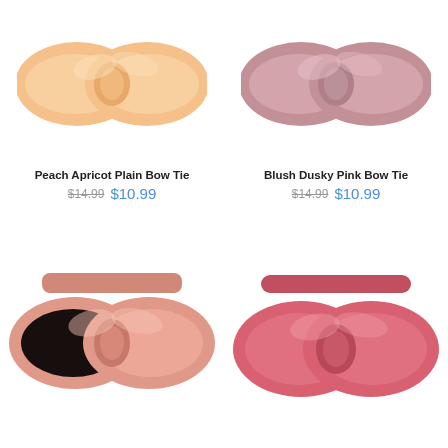[Figure (photo): Peach apricot plain bow tie product photo on white background]
Peach Apricot Plain Bow Tie
$14.99 $10.99
[Figure (photo): Blush dusky pink bow tie product photo on white background]
Blush Dusky Pink Bow Tie
$14.99 $10.99
[Figure (photo): Salmon pink plain bow tie product photo on white background]
[Figure (photo): Coral pink bow tie product photo on white background]